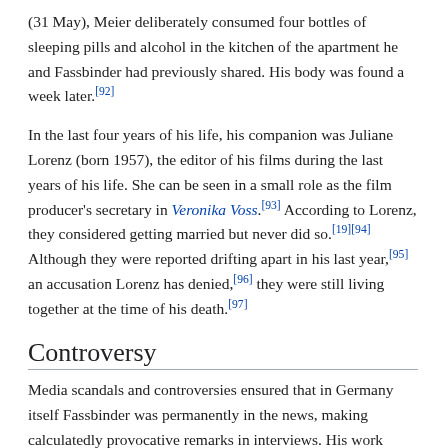(31 May), Meier deliberately consumed four bottles of sleeping pills and alcohol in the kitchen of the apartment he and Fassbinder had previously shared. His body was found a week later.[92]
In the last four years of his life, his companion was Juliane Lorenz (born 1957), the editor of his films during the last years of his life. She can be seen in a small role as the film producer's secretary in Veronika Voss.[93] According to Lorenz, they considered getting married but never did so.[19][94] Although they were reported drifting apart in his last year,[95] an accusation Lorenz has denied,[96] they were still living together at the time of his death.[97]
Controversy
Media scandals and controversies ensured that in Germany itself Fassbinder was permanently in the news, making calculatedly provocative remarks in interviews. His work often received mixed reviews from the national critics, many of whom only began to take him seriously after the foreign press had hailed him as a major director.[98]
There were frequent exposés of his lifestyle in the press, and